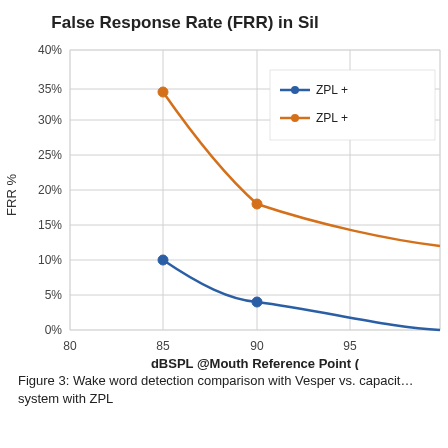[Figure (line-chart): False Response Rate (FRR) in Sil…]
Figure 3: Wake word detection comparison with Vesper vs. capacit… system with ZPL